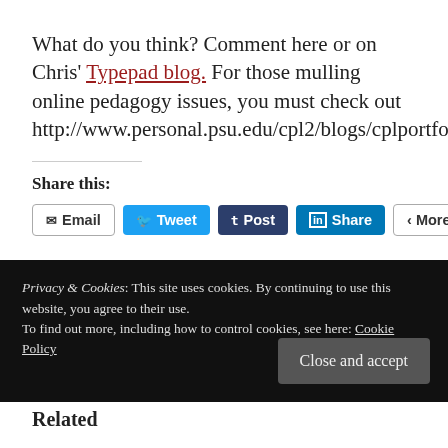What do you think? Comment here or on Chris' Typepad blog. For those mulling online pedagogy issues, you must check out http://www.personal.psu.edu/cpl2/blogs/cplportfolio/blog/.
Share this:
[Figure (screenshot): Social sharing buttons: Email, Tweet, Post, Share, More]
Privacy & Cookies: This site uses cookies. By continuing to use this website, you agree to their use. To find out more, including how to control cookies, see here: Cookie Policy
Related